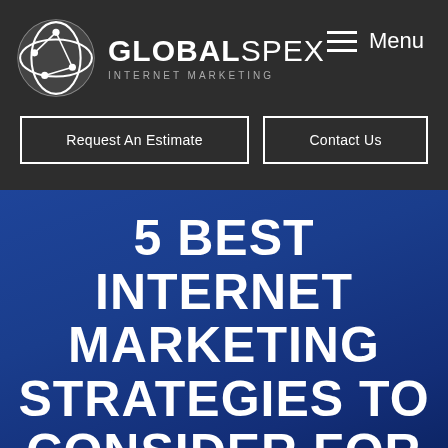GlobalSpex Internet Marketing — Menu
[Figure (logo): GlobalSpex Internet Marketing logo: circular globe icon with circuit lines, white text reading GLOBALSPEX INTERNET MARKETING]
Request An Estimate
Contact Us
5 BEST INTERNET MARKETING STRATEGIES TO CONSIDER FOR 2012